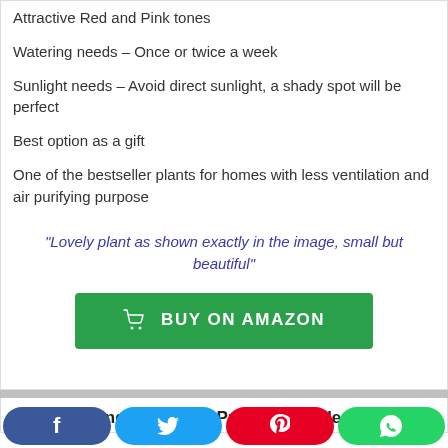Minimal maintenance
Attractive Red and Pink tones
Watering needs – Once or twice a week
Sunlight needs –  Avoid direct sunlight, a shady spot will be perfect
Best option as a gift
One of the bestseller plants for homes with less ventilation and air purifying purpose
"Lovely plant as shown exactly in the image, small but beautiful"
BUY ON AMAZON
5  Rolling Nature Air Purifying Spider Plant